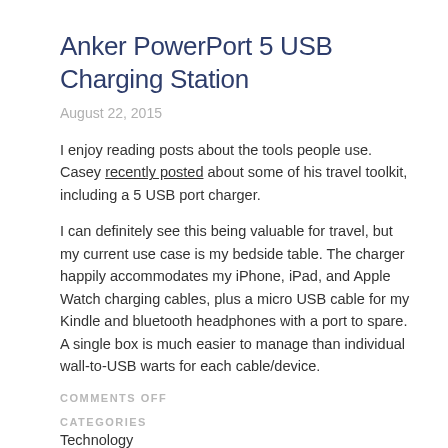Anker PowerPort 5 USB Charging Station
August 22, 2015
I enjoy reading posts about the tools people use. Casey recently posted about some of his travel toolkit, including a 5 USB port charger.
I can definitely see this being valuable for travel, but my current use case is my bedside table. The charger happily accommodates my iPhone, iPad, and Apple Watch charging cables, plus a micro USB cable for my Kindle and bluetooth headphones with a port to spare. A single box is much easier to manage than individual wall-to-USB warts for each cable/device.
COMMENTS OFF
CATEGORIES
Technology